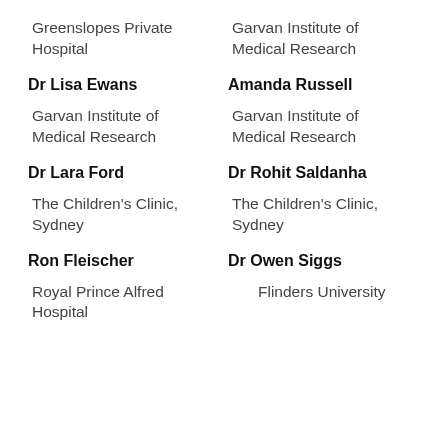Greenslopes Private Hospital
Garvan Institute of Medical Research
Dr Lisa Ewans
Amanda Russell
Garvan Institute of Medical Research
Garvan Institute of Medical Research
Dr Lara Ford
Dr Rohit Saldanha
The Children's Clinic, Sydney
The Children's Clinic, Sydney
Ron Fleischer
Dr Owen Siggs
Royal Prince Alfred Hospital
Flinders University